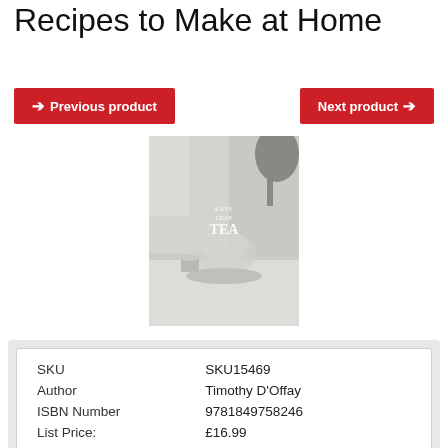Recipes to Make at Home
Previous product | Next product
[Figure (photo): Book cover for 'Easy Leaf Tea' by Timothy D'Offay, showing a glass teapot and cup on a white surface with soft natural lighting.]
| SKU | SKU15469 |
| Author | Timothy D'Offay |
| ISBN Number | 9781849758246 |
| List Price: | £16.99 |
| Our price: | £14.90 |